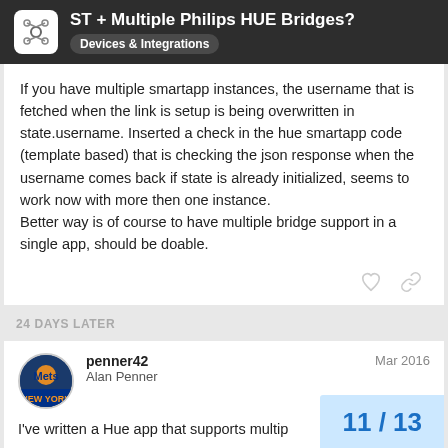ST + Multiple Philips HUE Bridges? Devices & Integrations
If you have multiple smartapp instances, the username that is fetched when the link is setup is being overwritten in state.username. Inserted a check in the hue smartapp code (template based) that is checking the json response when the username comes back if state is already initialized, seems to work now with more then one instance.
Better way is of course to have multiple bridge support in a single app, should be doable.
24 DAYS LATER
penner42
Alan Penner
Mar 2016
I've written a Hue app that supports multip